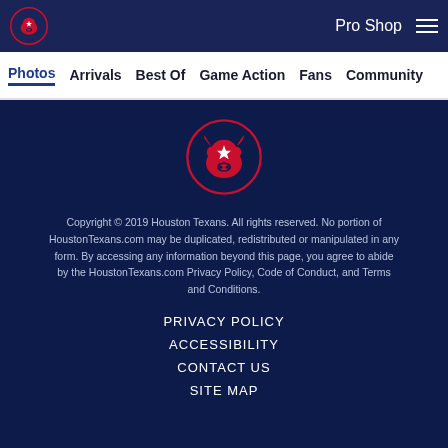Pro Shop
Photos  Arrivals  Best Of  Game Action  Fans  Community
[Figure (logo): Houston Texans bull logo in navy, red and white]
Copyright © 2019 Houston Texans. All rights reserved. No portion of HoustonTexans.com may be duplicated, redistributed or manipulated in any form. By accessing any information beyond this page, you agree to abide by the HoustonTexans.com Privacy Policy, Code of Conduct, and Terms and Conditions.
PRIVACY POLICY
ACCESSIBILITY
CONTACT US
SITE MAP